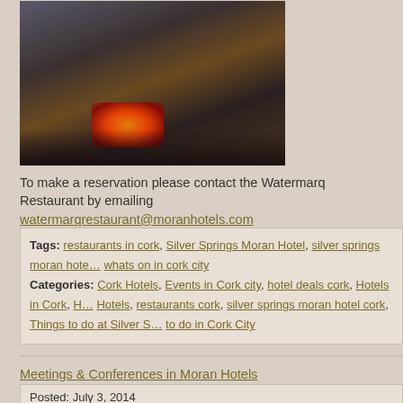[Figure (photo): Interior photo of a hotel bar/lounge area with a fireplace/fire feature on a dark table, bar stools in background]
To make a reservation please contact the Watermarq Restaurant by emailing watermarqrestaurant@moranhotels.com
Tags: restaurants in cork, Silver Springs Moran Hotel, silver springs moran hote... whats on in cork city
Categories: Cork Hotels, Events in Cork city, hotel deals cork, Hotels in Cork, H... Hotels, restaurants cork, silver springs moran hotel cork, Things to do at Silver S... to do in Cork City
Meetings & Conferences in Moran Hotels
Posted: July 3, 2014
Moran Hotels specialize in delivering excellent hospitality to their customers. Moran Hotels offer state of the art meeting rooms. Features vary between prope...